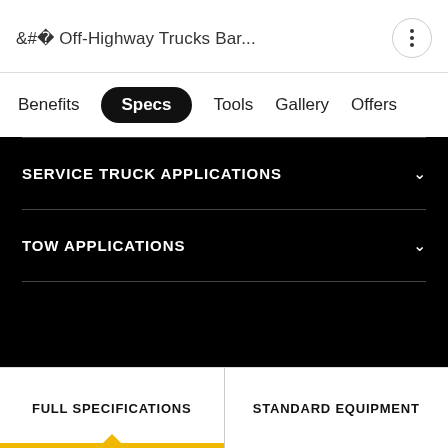< Off-Highway Trucks Bar...
Benefits  Specs  Tools  Gallery  Offers
SERVICE TRUCK APPLICATIONS
TOW APPLICATIONS
FULL SPECIFICATIONS
STANDARD EQUIPMENT